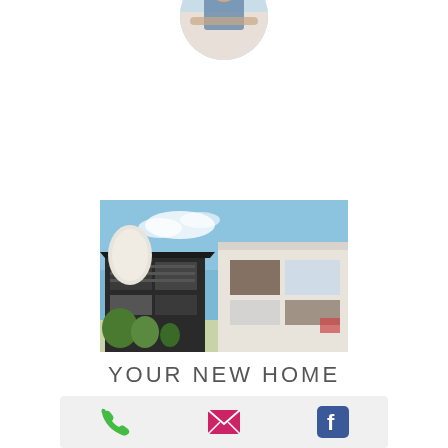[Figure (photo): Circular cropped photo of person at top of page, partially visible]
[Figure (photo): Photo of modern residential houses with dark wood and white facade details, blue sky background]
YOUR NEW HOME
[Figure (infographic): Contact bar with phone icon (green), email icon (pink/magenta envelope), and Facebook icon (blue)]